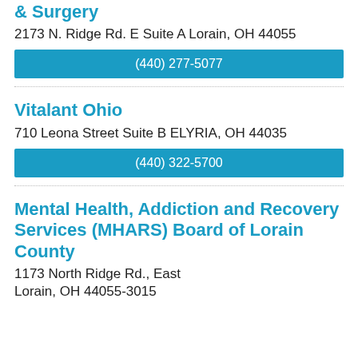& Surgery
2173 N. Ridge Rd. E Suite A Lorain, OH 44055
(440) 277-5077
Vitalant Ohio
710 Leona Street Suite B ELYRIA, OH 44035
(440) 322-5700
Mental Health, Addiction and Recovery Services (MHARS) Board of Lorain County
1173 North Ridge Rd., East
Lorain, OH 44055-3015